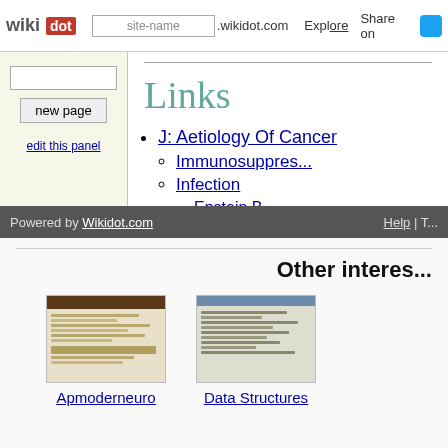wiki[dot] | site-name .wikidot.com | Explore | Share on [Twitter]
Links
J: Aetiology Of Cancer
Immunosuppres...
Infection
Epstein B...
Human Im...
Human Pa...
Powered by Wikidot.com | Help | T...
Other interes...
[Figure (screenshot): Thumbnail screenshot of Apmoderneuro wiki page]
Apmoderneuro
[Figure (screenshot): Thumbnail screenshot of Data Structures wiki page]
Data Structures